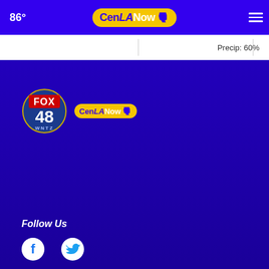86° CenLA Now navigation header with weather icon and hamburger menu
Precip: 60%
[Figure (logo): FOX 48 WNTZ and CenLA Now combined station logo]
Follow Us
[Figure (other): Facebook and Twitter social media icons]
News App
[Figure (other): Download on the App Store button]